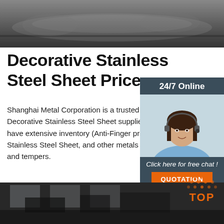[Figure (photo): Black and white photo of stainless steel rolls/coils at top of page]
Decorative Stainless Steel Sheet Price
Shanghai Metal Corporation is a trusted (Anti-Finger print) Decorative Stainless Steel Sheet supplier in china, we have extensive inventory (Anti-Finger print) Decorative Stainless Steel Sheet, and other metals in various alloys and tempers.
[Figure (photo): Sidebar widget with '24/7 Online' label, photo of female customer service agent with headset, 'Click here for free chat!' text, and orange QUOTATION button]
[Figure (other): Green 'Get Price' button]
[Figure (photo): Black and white photo of industrial factory interior at bottom of page]
[Figure (other): Orange 'TOP' label with dot pattern above, bottom right corner]